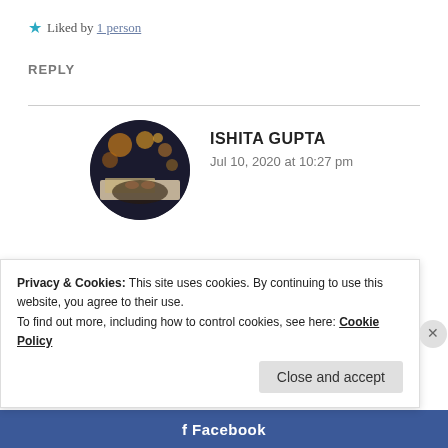★ Liked by 1 person
REPLY
ISHITA GUPTA
Jul 10, 2020 at 10:27 pm
[Figure (photo): Round avatar photo of Ishita Gupta showing a person with bokeh lights background]
😊 🌹 💔
★ Liked by 1 person
Privacy & Cookies: This site uses cookies. By continuing to use this website, you agree to their use.
To find out more, including how to control cookies, see here: Cookie Policy
Close and accept